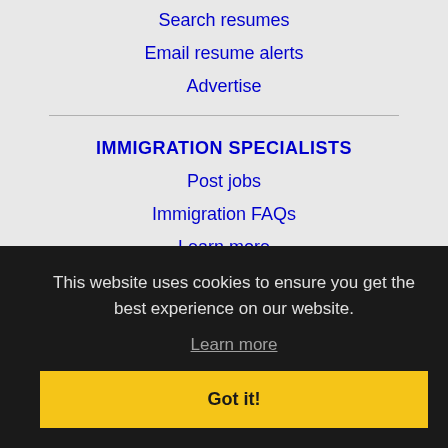Search resumes
Email resume alerts
Advertise
IMMIGRATION SPECIALISTS
Post jobs
Immigration FAQs
Learn more
This website uses cookies to ensure you get the best experience on our website.
Learn more
Got it!
Contact us
Sitemap
Legal
Privacy